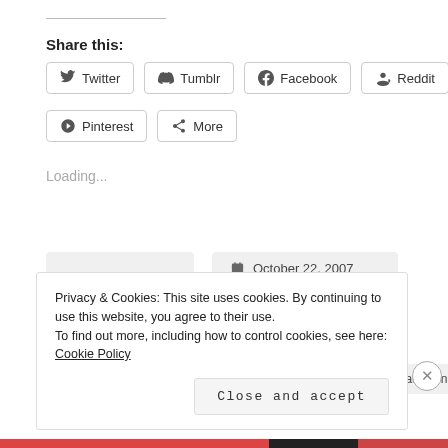Share this:
Twitter
Tumblr
Facebook
Reddit
Pinterest
More
Loading...
6 Comments
October 22, 2007
matttbastard
a k8 a cat a mission
All About Race
Baghdad Burning
Privacy & Cookies: This site uses cookies. By continuing to use this website, you agree to their use. To find out more, including how to control cookies, see here: Cookie Policy
Close and accept